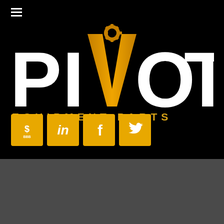[Figure (logo): Pivot Equipment Parts logo on black background with orange/gold V shape containing a gear icon, white bold text PIVOT, and gold spaced text EQUIPMENT PARTS]
[Figure (infographic): Four social media/badge icons on gold/yellow square backgrounds: BBB (Better Business Bureau), LinkedIn, Facebook, Twitter]
© 2022 Pivot Equipment Parts. All Rights Reserved | Terms Of Service & Warranty | Privacy Policy | [payment card icons]